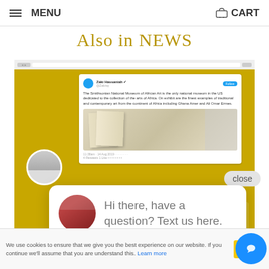MENU   CART
Also in NEWS
[Figure (screenshot): Screenshot of a Twitter/social media profile page showing a tweet about the Smithsonian National Museum of African Art, with a photo of books and a profile picture]
close
Hi there, have a question? Text us here.
The S... National Museum of
We use cookies to ensure that we give you the best experience on our website. If you continue we'll assume that you are understand this. Learn more
Accept